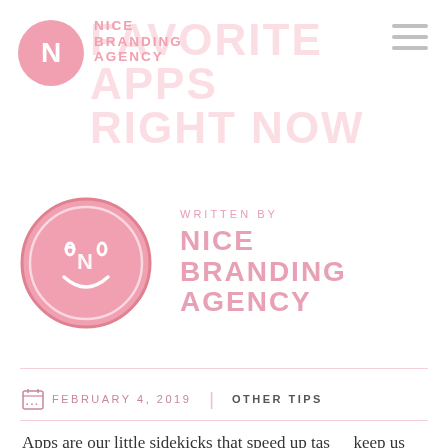NICE BRANDING AGENCY
FAVORITE APPS RIGHT NOW
[Figure (logo): Nice Branding Agency smiley face logo circle in pink with N and smile]
WRITTEN BY
NICE BRANDING AGENCY
FEBRUARY 4, 2019  |  OTHER TIPS
Apps are our little sidekicks that speed up tasks, keep us organized and make random little things more fun. We each picked out our favorite one that